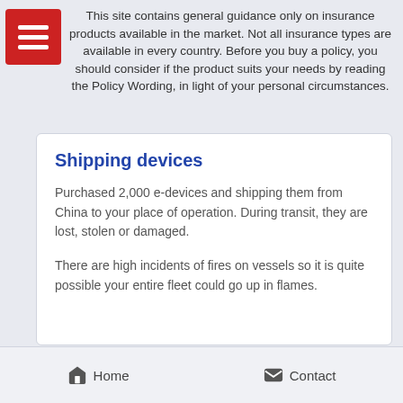This site contains general guidance only on insurance products available in the market. Not all insurance types are available in every country. Before you buy a policy, you should consider if the product suits your needs by reading the Policy Wording, in light of your personal circumstances.
Shipping devices
Purchased 2,000 e-devices and shipping them from China to your place of operation. During transit, they are lost, stolen or damaged.
There are high incidents of fires on vessels so it is quite possible your entire fleet could go up in flames.
Home   Contact